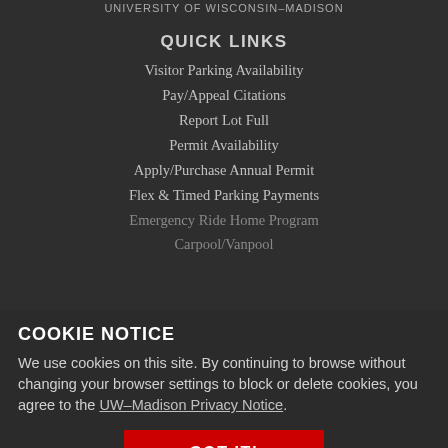UNIVERSITY OF WISCONSIN–MADISON
QUICK LINKS
Visitor Parking Availability
Pay/Appeal Citations
Report Lot Full
Permit Availability
Apply/Purchase Annual Permit
Flex & Timed Parking Payments
Emergency Ride Home Program
Carpool/Vanpool
COOKIE NOTICE
We use cookies on this site. By continuing to browse without changing your browser settings to block or delete cookies, you agree to the UW–Madison Privacy Notice.
GOT IT!